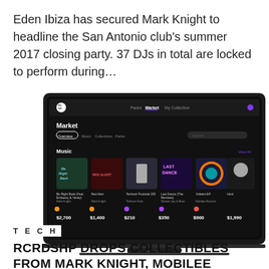Eden Ibiza has secured Mark Knight to headline the San Antonio club's summer 2017 closing party. 37 DJs in total are locked to perform during…
[Figure (screenshot): Screenshot of RCRDSHP platform Market page showing music collectibles including 'Be Right Back (Feat. Embassy & Yanay)', 'Red Alert', 'Technoir Poolside 350', 'Last Dance (The Remixes)', 'Voltaire EP', and 'Inlvd' with prices $2,700, $1,400, $210, $350, $900, $1,990 displayed on a dark interface.]
TECH
RCRDSHP DROPS COLLECTIBLES FROM MARK KNIGHT, MOBILEE RECORDS, SHARAM JEY & MORE